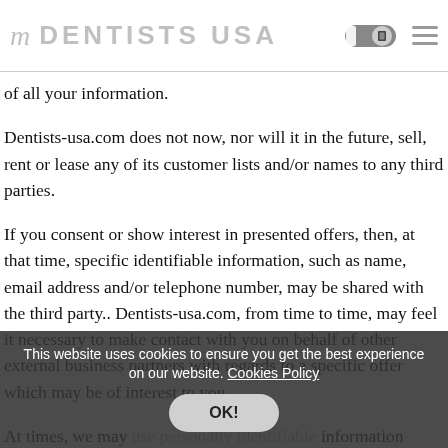DENTISTS USA
of all your information.
Dentists-usa.com does not now, nor will it in the future, sell, rent or lease any of its customer lists and/or names to any third parties.
If you consent or show interest in presented offers, then, at that time, specific identifiable information, such as name, email address and/or telephone number, may be shared with the third party.. Dentists-usa.com, from time to time, may feel it necessary to make contact with you on behalf of other external business partners with regards to a specific offer which may be of interest to you
At times, we may use personally identifiable information meant to inform you of other possible products
This website uses cookies to ensure you get the best experience on our website. Cookies Policy